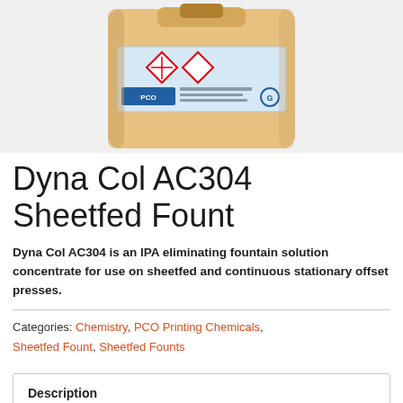[Figure (photo): A large orange/amber colored plastic jerrican/container with PCO branding label and hazard symbols on a white background.]
Dyna Col AC304 Sheetfed Fount
Dyna Col AC304 is an IPA eliminating fountain solution concentrate for use on sheetfed and continuous stationary offset presses.
Categories: Chemistry, PCO Printing Chemicals, Sheetfed Fount, Sheetfed Founts
Description
Additional information